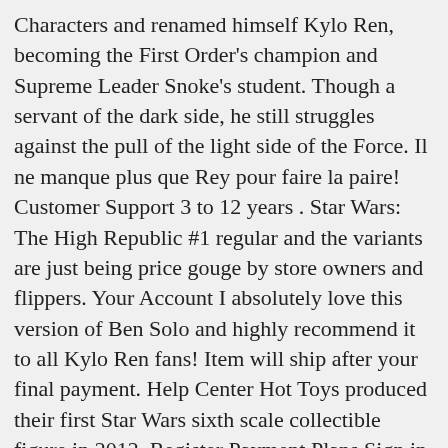Characters and renamed himself Kylo Ren, becoming the First Order's champion and Supreme Leader Snoke's student. Though a servant of the dark side, he still struggles against the pull of the light side of the Force. Il ne manque plus que Rey pour faire la paire! Customer Support 3 to 12 years . Star Wars: The High Republic #1 regular and the variants are just being price gouge by store owners and flippers. Your Account I absolutely love this version of Ben Solo and highly recommend it to all Kylo Ren fans! Item will ship after your final payment. Help Center Hot Toys produced their first Star Wars sixth scale collectible figure in 2012. Register Payment Plans Sign in Kylo uses the fact that Rey is an orphan to tempt her into joining the dark side. Curated Collections Products by Type All Rights Reserved. Your final payment will also include the shipping and tax charges for your order. Seven (7) interchangeable gloved hands including: Both open relaxed hands, both fists, one grip hand, one